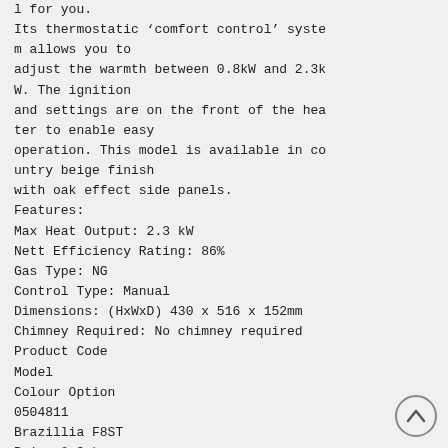l for you.
Its thermostatic 'comfort control' system allows you to
adjust the warmth between 0.8kW and 2.3kW. The ignition
and settings are on the front of the heater to enable easy
operation. This model is available in country beige finish
with oak effect side panels.
Features:
Max Heat Output: 2.3 kW
Nett Efficiency Rating: 86%
Gas Type: NG
Control Type: Manual
Dimensions: (HxWxD) 430 x 516 x 152mm
Chimney Required: No chimney required
Product Code
Model
Colour Option
0504811
Brazillia F8ST
Beige & Oak
243857
[Figure (illustration): Circular scroll-to-top button with an upward-pointing chevron arrow]